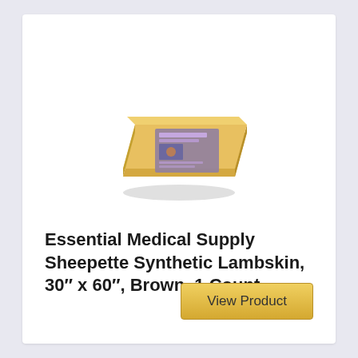[Figure (photo): Packaged folded synthetic lambskin pad product with a label on the front, yellowish/tan colored fabric visible, shown at an angle]
Essential Medical Supply Sheepette Synthetic Lambskin, 30″ x 60″, Brown, 1 Count
View Product